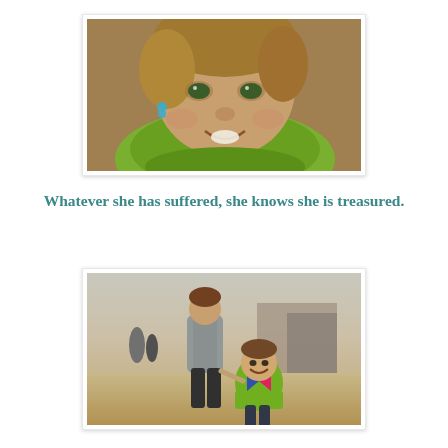[Figure (photo): Close-up portrait of a young girl smiling, wearing a green knit sweater and small blue earrings, with warm brown eyes.]
Whatever she has suffered, she knows she is treasured.
[Figure (photo): Two children walking together in a dusty refugee camp setting. A taller child in a grey jacket holds hands with a smaller girl in a colorful green, blue, and pink sweater who is smiling back at the camera.]